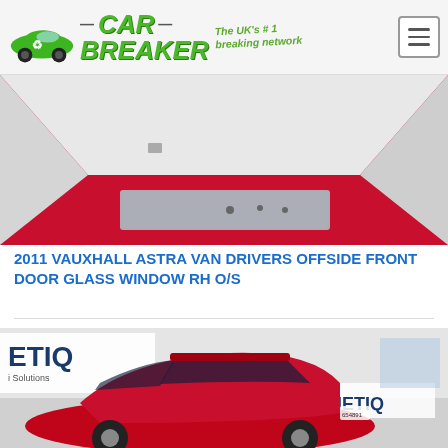CAR BREAKER — The UK's #1 breaking network
[Figure (photo): A car door window glass lying flat on a red surface inside a white-walled room, photographed from above.]
2011 VAUXHALL ASTRA VAN DRIVERS OFFSIDE FRONT DOOR GLASS WINDOW RH O/S
[Figure (photo): A red Vauxhall Astra hatchback car parked inside a SYNETIQ vehicle dismantling facility, with SYNETIQ branding visible on banners in the background.]